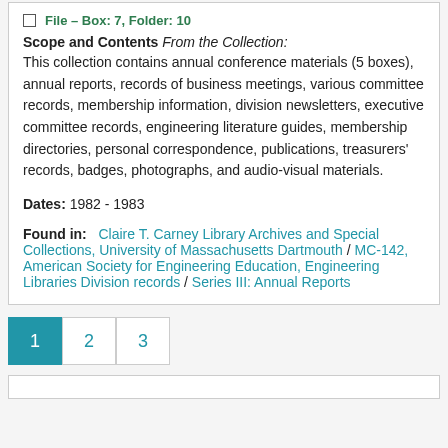File – Box: 7, Folder: 10
Scope and Contents From the Collection: This collection contains annual conference materials (5 boxes), annual reports, records of business meetings, various committee records, membership information, division newsletters, executive committee records, engineering literature guides, membership directories, personal correspondence, publications, treasurers' records, badges, photographs, and audio-visual materials.
Dates: 1982 - 1983
Found in: Claire T. Carney Library Archives and Special Collections, University of Massachusetts Dartmouth / MC-142, American Society for Engineering Education, Engineering Libraries Division records / Series III: Annual Reports
1 2 3